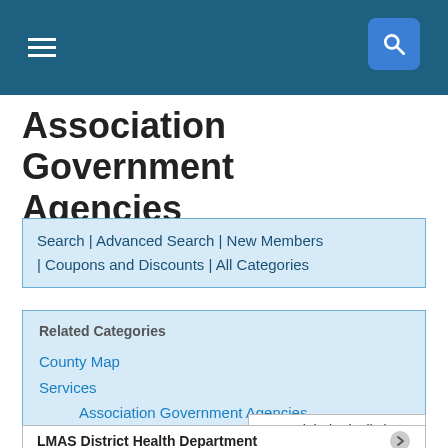Association Government Agencies
Search | Advanced Search | New Members | Coupons and Discounts | All Categories
Related Categories
County Map
Services
Association Government Agencies
Sort alphabetically by...
LMAS District Health Department